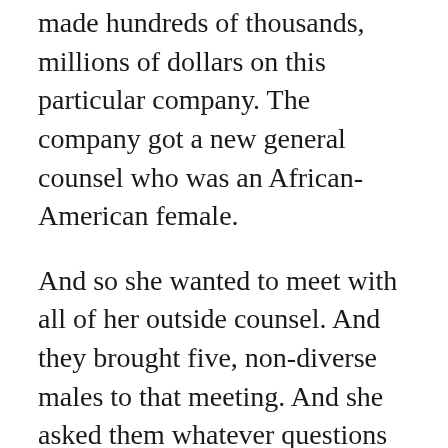made hundreds of thousands, millions of dollars on this particular company. The company got a new general counsel who was an African-American female.
And so she wanted to meet with all of her outside counsel. And they brought five, non-diverse males to that meeting. And she asked them whatever questions she asked them about the work. And then she said, well, tell me this. What have any of you ever done for a diverse employee at your law firm? And I was told that they didn't have any answers.
Within a week or so, she told them you will no